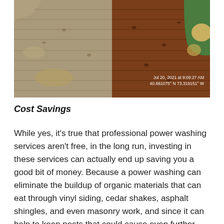[Figure (photo): Before-and-after photo of a wooden deck. Left half shows weathered, dirty wood with gray and yellowish patches. Right half shows freshly cleaned, rich brown wood. Green grass and a round stone visible in top-right corner. Timestamp overlay reads: Jul 20, 2021 at 9:09:27 AM, 40.861075° N 73.319151° W]
Cost Savings
While yes, it's true that professional power washing services aren't free, in the long run, investing in these services can actually end up saving you a good bit of money. Because a power washing can eliminate the buildup of organic materials that can eat through vinyl siding, cedar shakes, asphalt shingles, and even masonry work, and since it can help to keep pests that could cause even further